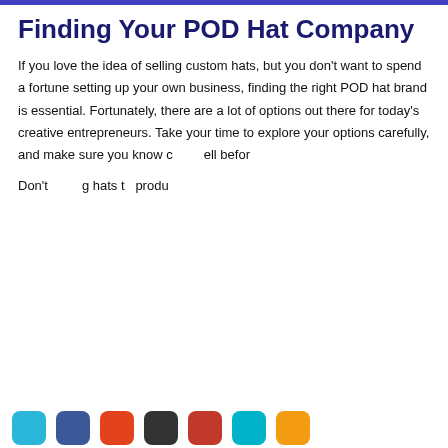Finding Your POD Hat Company
If you love the idea of selling custom hats, but you don't want to spend a fortune setting up your own business, finding the right POD hat brand is essential. Fortunately, there are a lot of options out there for today's creative entrepreneurs. Take your time to explore your options carefully, and make sure you know c[…]ell befor[…]
Don't […]g hats t[…] produ[…]
[Figure (other): Cookie consent banner with yellow background. Text: 'This website uses cookies to ensure you get the best experience.' Two buttons: 'Learn more' (outlined) and 'OK' (dark olive background, white text).]
[Figure (infographic): Row of social media icon buttons in rounded square shapes: cyan, dark blue, red-orange, dark gray, red, light blue, orange.]